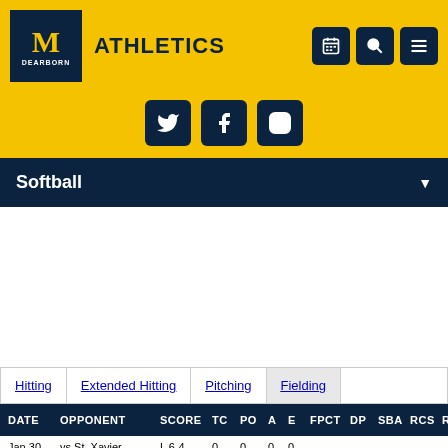[Figure (logo): University of Michigan Dearborn block M logo in dark blue with gold M and DEARBORN text]
ATHLETICS
[Figure (infographic): Navigation icons: calendar, search, hamburger menu in dark blue rounded square buttons]
[Figure (infographic): Social media icons: Twitter, Facebook, Instagram in dark blue rounded square buttons]
Softball
| DATE | OPPONENT | SCORE | TC | PO | A | E | FPCT | DP | SBA | RCS | RCS% |
| --- | --- | --- | --- | --- | --- | --- | --- | --- | --- | --- | --- |
| Jan 30 | vs St. Xavier | L 6-4 | 0 | 0 | 0 | 0 | - | - | - | - | - |